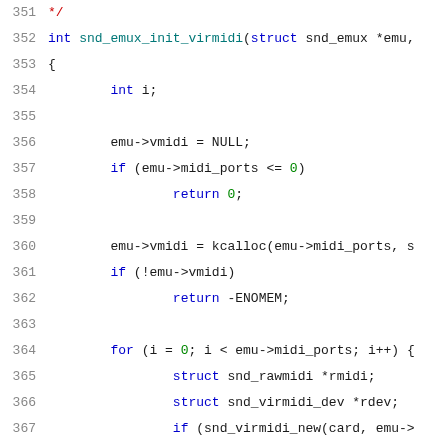Code listing showing snd_emux_init_virmidi function, lines 351-371
[Figure (screenshot): Source code listing with line numbers 351-371 showing C code for snd_emux_init_virmidi function with syntax highlighting]